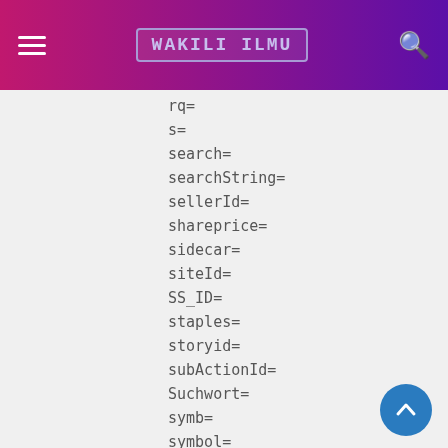Wakili Ilmu
rq=
s=
search=
searchString=
sellerId=
shareprice=
sidecar=
siteId=
SS_ID=
staples=
storyid=
subActionId=
Suchwort=
symb=
symbol=
t=
text=
title=